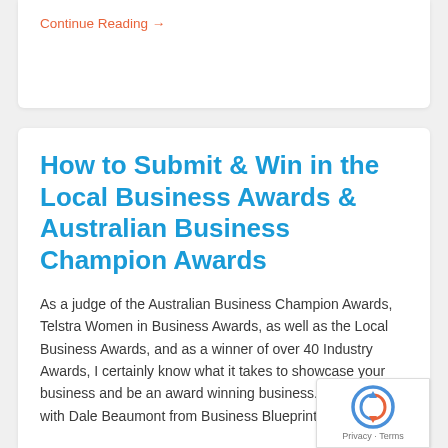Continue Reading →
How to Submit & Win in the Local Business Awards & Australian Business Champion Awards
As a judge of the Australian Business Champion Awards, Telstra Women in Business Awards, as well as the Local Business Awards, and as a winner of over 40 Industry Awards, I certainly know what it takes to showcase your business and be an award winning business. I caught up with Dale Beaumont from Business Blueprint,...
Continue Reading →